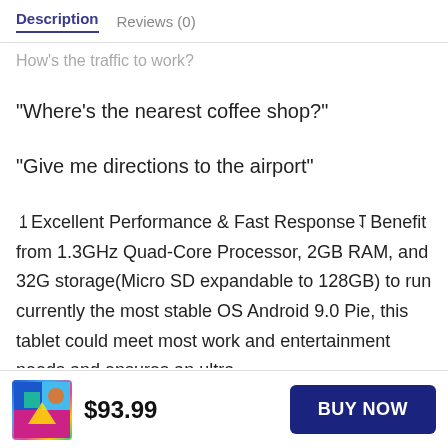Description   Reviews (0)
How's the traffic to work?
“Where’s the nearest coffee shop?”
“Give me directions to the airport”
❠Excellent Performance & Fast Response❡Benefit from 1.3GHz Quad-Core Processor, 2GB RAM, and 32G storage(Micro SD expandable to 128GB) to run currently the most stable OS Android 9.0 Pie, this tablet could meet most work and entertainment needs and ensures an ultra-smooth gaming and speedy multimedia using
$93.99
BUY NOW